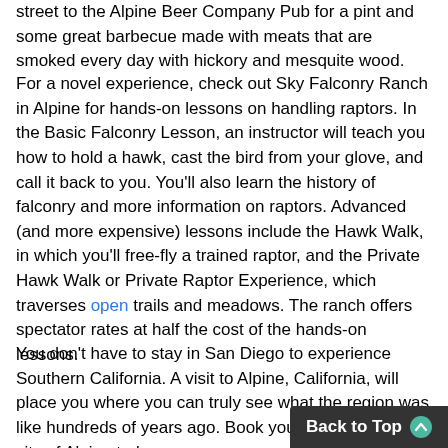street to the Alpine Beer Company Pub for a pint and some great barbecue made with meats that are smoked every day with hickory and mesquite wood.
For a novel experience, check out Sky Falconry Ranch in Alpine for hands-on lessons on handling raptors. In the Basic Falconry Lesson, an instructor will teach you how to hold a hawk, cast the bird from your glove, and call it back to you. You'll also learn the history of falconry and more information on raptors. Advanced (and more expensive) lessons include the Hawk Walk, in which you'll free-fly a trained raptor, and the Private Hawk Walk or Private Raptor Experience, which traverses open trails and meadows. The ranch offers spectator rates at half the cost of the hands-on lessons.
You don't have to stay in San Diego to experience Southern California. A visit to Alpine, California, will place you where you can truly see what the region was like hundreds of years ago. Book your trip to the scenic city of Alpine today.